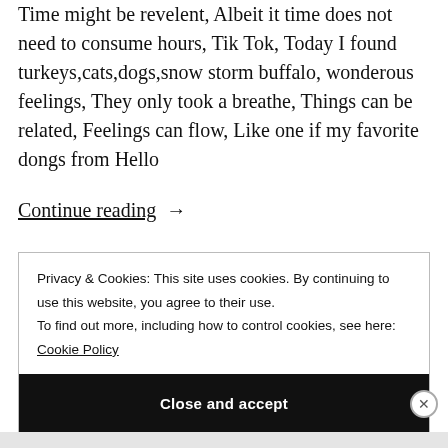Time might be revelent, Albeit it time does not need to consume hours, Tik Tok, Today I found turkeys,cats,dogs,snow storm buffalo, wonderous feelings, They only took a breathe, Things can be related, Feelings can flow, Like one if my favorite dongs from Hello
Continue reading  →
Privacy & Cookies: This site uses cookies. By continuing to use this website, you agree to their use.
To find out more, including how to control cookies, see here: Cookie Policy
Close and accept